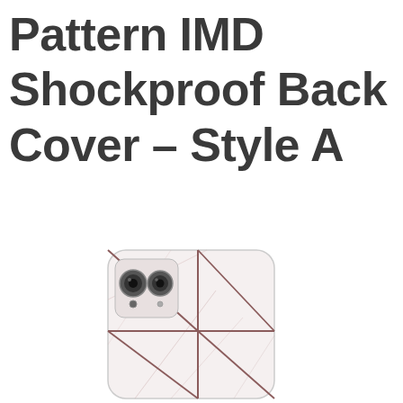Pattern IMD Shockproof Back Cover – Style A
[Figure (photo): Product photo of a phone back cover case with a pink marble and geometric line pattern, showing the camera cutout area with two camera holes visible.]